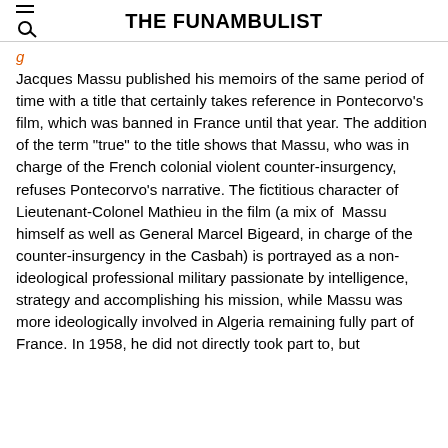THE FUNAMBULIST
Jacques Massu published his memoirs of the same period of time with a title that certainly takes reference in Pontecorvo’s film, which was banned in France until that year. The addition of the term “true” to the title shows that Massu, who was in charge of the French colonial violent counter-insurgency, refuses Pontecorvo’s narrative. The fictitious character of Lieutenant-Colonel Mathieu in the film (a mix of Massu himself as well as General Marcel Bigeard, in charge of the counter-insurgency in the Casbah) is portrayed as a non-ideological professional military passionate by intelligence, strategy and accomplishing his mission, while Massu was more ideologically involved in Algeria remaining fully part of France. In 1958, he did not directly took part to, but